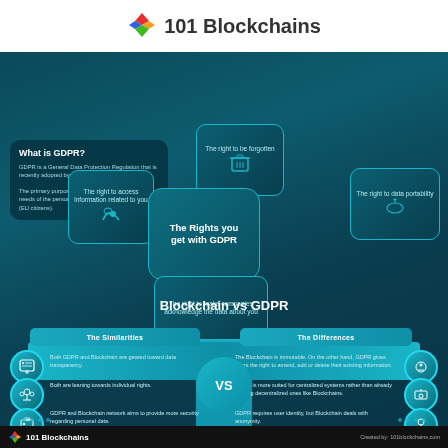[Figure (logo): 101 Blockchains logo with colorful diamond icon and bold text '101 Blockchains']
[Figure (infographic): Infographic titled 'The Rights you get with GDPR' showing a tree diagram with satellite bubbles: 'The right to be forgotten', 'The right to access information related to you', 'The right to data portability', 'The right to make companies acknowledge the data about you'. Left side has a box explaining 'What is GDPR?' stating GDPR is a General Data Protection Regulation adopted by European Union (EU) as a law, with primary purpose to cater to the needs of personal data privacy of an individual (EU citizens). Below is a comparison section 'Blockchain vs GDPR' with Similarities (Both GDPR and Blockchain are geared toward data transparency; Both are leaning towards individual rights; GDPR and Blockchain network aims to provide more security regarding personal data) and Differences (The Blockchain is immutable. On the other hand, GDPR gives users the right to amend, add or delete their existing information; GDPR is more suited for centralized systems rather than already existing decentralized ones like Blockchains; GDPR requires user identity, but Blockchain deals with anonymity).]
101 Blockchains   Created by: 101blockchains.com